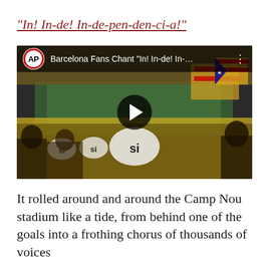“In! In-de! In-de-pen-den-ci-a!”
[Figure (screenshot): AP video thumbnail showing Barcelona fans at Camp Nou waving Catalan independence flags (estelada) and holding yellow banners with 'si'. Video title overlay reads: Barcelona Fans Chant "In! In-de! In-... AP logo visible in top left corner.]
It rolled around and around the Camp Nou stadium like a tide, from behind one of the goals into a frothing chorus of thousands of voices